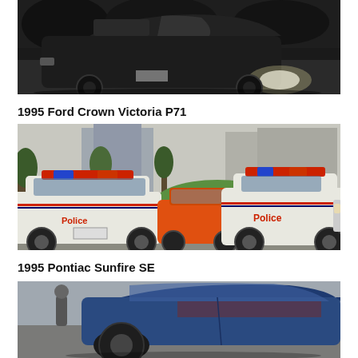[Figure (photo): A dark-colored sedan car driving at night or in low light, viewed from the side, with headlights on, surrounded by trees and gravel.]
1995 Ford Crown Victoria P71
[Figure (photo): Two white Ford Crown Victoria P71 police cars with red and blue light bars, labeled 'Police', driving in an urban area with trees and buildings in background. An orange muscle car is visible between them.]
1995 Pontiac Sunfire SE
[Figure (photo): Partial view of a blue car, likely a 1995 Pontiac Sunfire SE, with a person standing nearby.]